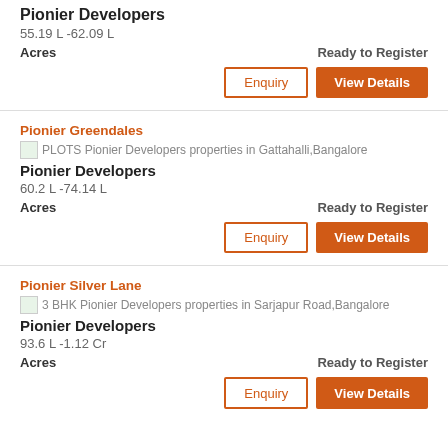Pionier Developers
55.19 L -62.09 L
Acres    Ready to Register
Enquiry   View Details
Pionier Greendales
PLOTS Pionier Developers properties in Gattahalli,Bangalore
Pionier Developers
60.2 L -74.14 L
Acres    Ready to Register
Enquiry   View Details
Pionier Silver Lane
3 BHK Pionier Developers properties in Sarjapur Road,Bangalore
Pionier Developers
93.6 L -1.12 Cr
Acres    Ready to Register